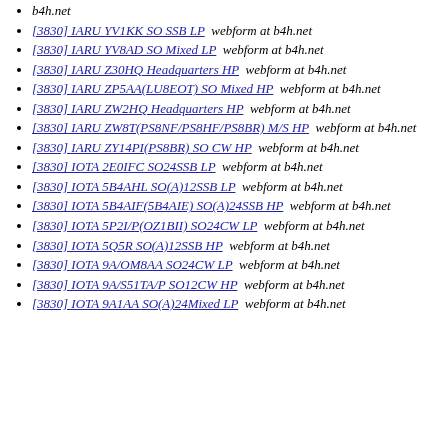b4h.net
[3830] IARU YV1KK SO SSB LP  webform at b4h.net
[3830] IARU YV8AD SO Mixed LP  webform at b4h.net
[3830] IARU Z30HQ Headquarters HP  webform at b4h.net
[3830] IARU ZP5AA(LU8EOT) SO Mixed HP  webform at b4h.net
[3830] IARU ZW2HQ Headquarters HP  webform at b4h.net
[3830] IARU ZW8T(PS8NF/PS8HF/PS8BR) M/S HP  webform at b4h.net
[3830] IARU ZY14PI(PS8BR) SO CW HP  webform at b4h.net
[3830] IOTA 2E0IFC SO24SSB LP  webform at b4h.net
[3830] IOTA 5B4AHL SO(A)12SSB LP  webform at b4h.net
[3830] IOTA 5B4AIF(5B4AIE) SO(A)24SSB HP  webform at b4h.net
[3830] IOTA 5P2I/P(OZ1BII) SO24CW LP  webform at b4h.net
[3830] IOTA 5Q5R SO(A)12SSB HP  webform at b4h.net
[3830] IOTA 9A/OM8AA SO24CW LP  webform at b4h.net
[3830] IOTA 9A/S51TA/P SO12CW HP  webform at b4h.net
[3830] IOTA 9A1AA SO(A)24Mixed LP  webform at b4h.net